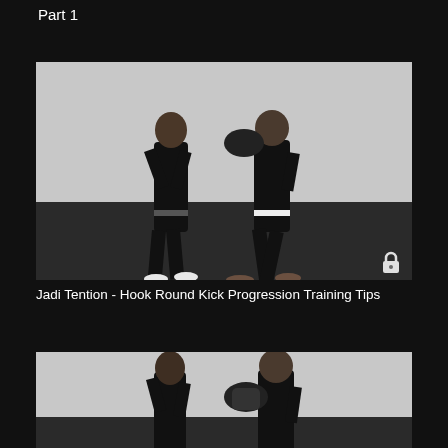Part 1
[Figure (photo): Two martial artists in black uniforms on a dark floor against white background. Left person in fighting stance, right person holding a training pad. A lock icon is visible in the bottom-right corner of the thumbnail.]
Jadi Tention - Hook Round Kick Progression Training Tips
[Figure (photo): Two martial artists in black uniforms, partially visible. Left person in guard stance, right person holding a training pad, both smiling slightly.]